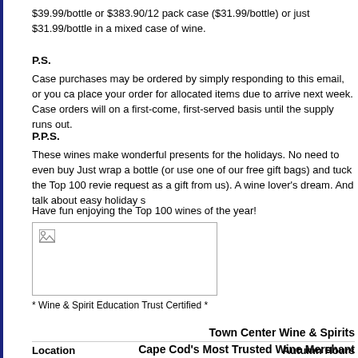$39.99/bottle or $383.90/12 pack case ($31.99/bottle) or just $31.99/bottle in a mixed case of wine.
P.S.
Case purchases may be ordered by simply responding to this email, or you can place your order for allocated items due to arrive next week. Case orders will on a first-come, first-served basis until the supply runs out.
P.P.S.
These wines make wonderful presents for the holidays. No need to even buy Just wrap a bottle (or use one of our free gift bags) and tuck the Top 100 revie request as a gift from us). A wine lover's dream. And talk about easy holiday s
Have fun enjoying the Top 100 wines of the year!
[Figure (photo): Broken image placeholder with small icon in top-left corner]
* Wine & Spirit Education Trust Certified *
Town Center Wine & Spirits
Cape Cod's Most Trusted Wine Merchant
Location    Autumn Hours